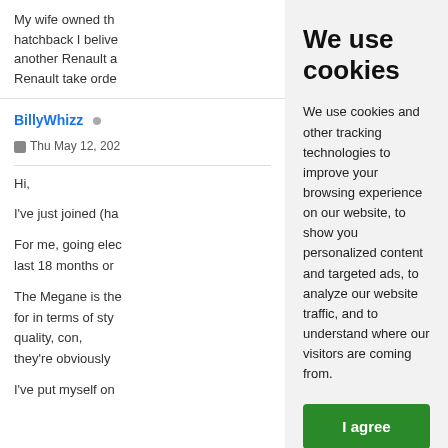My wife owned th... hatchback I belive... another Renault a... Renault take orde...
BillyWhizz
Thu May 12, 202...
Hi,
I've just joined (ha...
For me, going elec... last 18 months or...
The Megane is the... for in terms of sty... quality, ran, con... they're obviously...
I've put myself on...
We use cookies
We use cookies and other tracking technologies to improve your browsing experience on our website, to show you personalized content and targeted ads, to analyze our website traffic, and to understand where our visitors are coming from.
I agree
Change my preferences